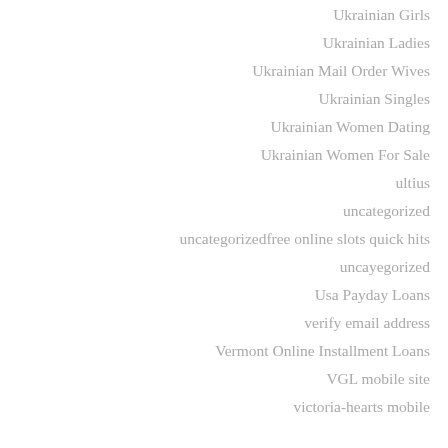Ukrainian Girls
Ukrainian Ladies
Ukrainian Mail Order Wives
Ukrainian Singles
Ukrainian Women Dating
Ukrainian Women For Sale
ultius
uncategorized
uncategorizedfree online slots quick hits
uncayegorized
Usa Payday Loans
verify email address
Vermont Online Installment Loans
VGL mobile site
victoria-hearts mobile